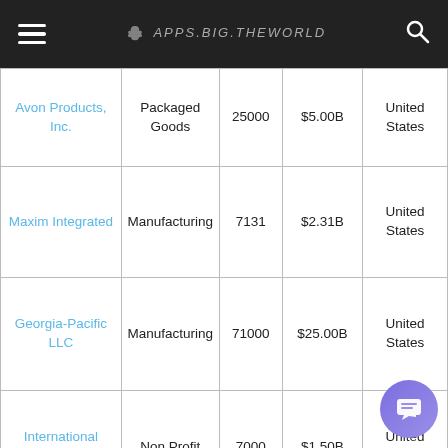APPS.BIG.THEWORLD
| Company | Industry | Employees | Revenue | Country |
| --- | --- | --- | --- | --- |
| Avon Products, Inc. | Packaged Goods | 25000 | $5.00B | United States |
| Maxim Integrated | Manufacturing | 7131 | $2.31B | United States |
| Georgia-Pacific LLC | Manufacturing | 71000 | $25.00B | United States |
| International Medical Corps | Non Profit | 7000 | $1.50B | United States |
| Ring Inc | Manufacturing | 1300 | $850.0M | United States |